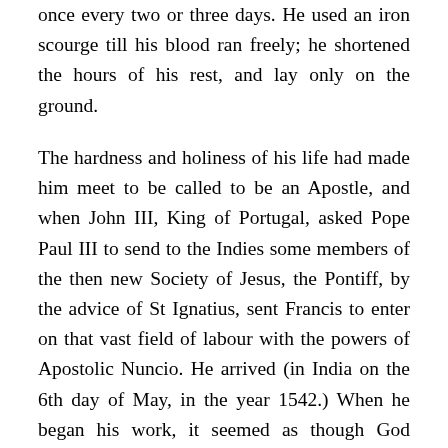once every two or three days. He used an iron scourge till his blood ran freely; he shortened the hours of his rest, and lay only on the ground.
The hardness and holiness of his life had made him meet to be called to be an Apostle, and when John III, King of Portugal, asked Pope Paul III to send to the Indies some members of the then new Society of Jesus, the Pontiff, by the advice of St Ignatius, sent Francis to enter on that vast field of labour with the powers of Apostolic Nuncio. He arrived (in India on the 6th day of May, in the year 1542.) When he began his work, it seemed as though God Himself taught him the many and difficult